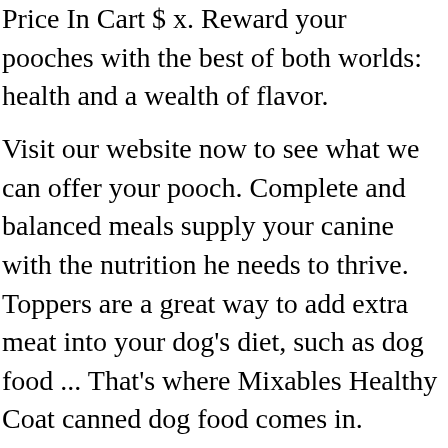Price In Cart $ x. Reward your pooches with the best of both worlds: health and a wealth of flavor.
Visit our website now to see what we can offer your pooch. Complete and balanced meals supply your canine with the nutrition he needs to thrive. Toppers are a great way to add extra meat into your dog's diet, such as dog food ... That's where Mixables Healthy Coat canned dog food comes in. Simply top his dry food with the paw-fect amount of this beef dinner and voila! Crafted in the USA with high-quality ingredients from around the world. See Price In Cart $ x. That's where Mixables Healthy Coat canned dog food comes in. Hydration: In addition to offering your dog fresh, clean water daily, the moisture in wet food toppers may help enhance hydration to help your dog get the